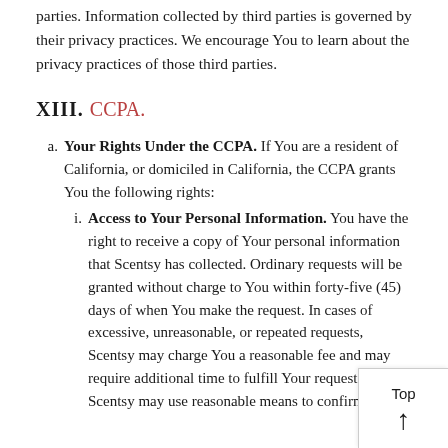parties. Information collected by third parties is governed by their privacy practices. We encourage You to learn about the privacy practices of those third parties.
XIII. CCPA.
a. Your Rights Under the CCPA. If You are a resident of California, or domiciled in California, the CCPA grants You the following rights:
i. Access to Your Personal Information. You have the right to receive a copy of Your personal information that Scentsy has collected. Ordinary requests will be granted without charge to You within forty-five (45) days of when You make the request. In cases of excessive, unreasonable, or repeated requests, Scentsy may charge You a reasonable fee and may require additional time to fulfill Your request. Also, Scentsy may use reasonable means to confirm Your